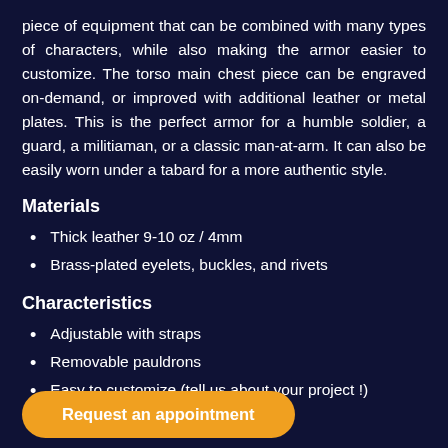piece of equipment that can be combined with many types of characters, while also making the armor easier to customize. The torso main chest piece can be engraved on-demand, or improved with additional leather or metal plates. This is the perfect armor for a humble soldier, a guard, a militiaman, or a classic man-at-arm. It can also be easily worn under a tabard for a more authentic style.
Materials
Thick leather 9-10 oz / 4mm
Brass-plated eyelets, buckles, and rivets
Characteristics
Adjustable with straps
Removable pauldrons
Easy to customize (tell us about your project !)
Request an appointment
S